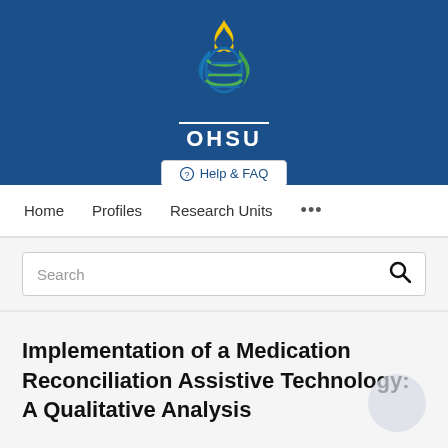[Figure (logo): OHSU (Oregon Health & Science University) logo with DNA helix and flame design in blue, green, and yellow, with white OHSU text below]
Help & FAQ
Home   Profiles   Research Units   ...
Search
Implementation of a Medication Reconciliation Assistive Technology: A Qualitative Analysis